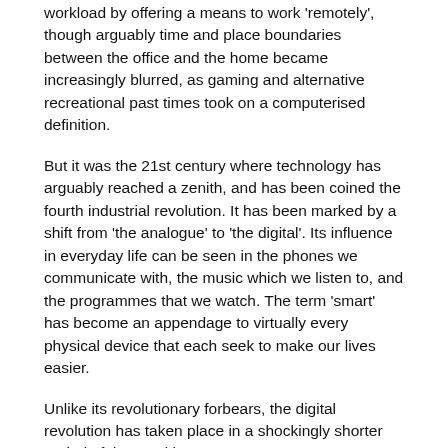workload by offering a means to work 'remotely', though arguably time and place boundaries between the office and the home became increasingly blurred, as gaming and alternative recreational past times took on a computerised definition.
But it was the 21st century where technology has arguably reached a zenith, and has been coined the fourth industrial revolution. It has been marked by a shift from 'the analogue' to 'the digital'. Its influence in everyday life can be seen in the phones we communicate with, the music which we listen to, and the programmes that we watch. The term 'smart' has become an appendage to virtually every physical device that each seek to make our lives easier.
Unlike its revolutionary forbears, the digital revolution has taken place in a shockingly shorter period of time and has seen more revenue generated in the last 20 years of the internet than the entire period of the industrial revolution.
The five generations of office
The digital economy is valued at more than USD3 trillion,